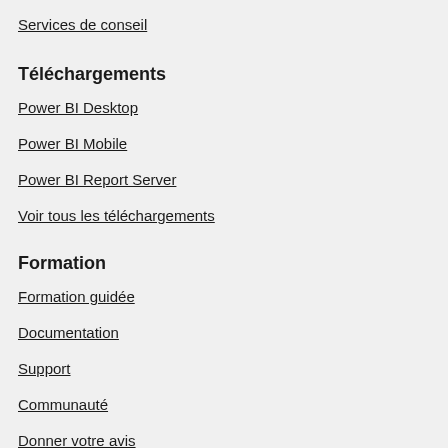Services de conseil
Téléchargements
Power BI Desktop
Power BI Mobile
Power BI Report Server
Voir tous les téléchargements
Formation
Formation guidée
Documentation
Support
Communauté
Donner votre avis